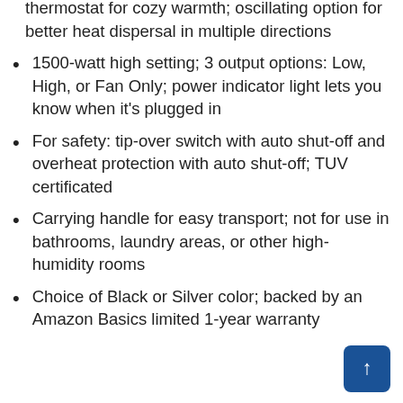thermostat for cozy warmth; oscillating option for better heat dispersal in multiple directions
1500-watt high setting; 3 output options: Low, High, or Fan Only; power indicator light lets you know when it's plugged in
For safety: tip-over switch with auto shut-off and overheat protection with auto shut-off; TUV certificated
Carrying handle for easy transport; not for use in bathrooms, laundry areas, or other high-humidity rooms
Choice of Black or Silver color; backed by an Amazon Basics limited 1-year warranty